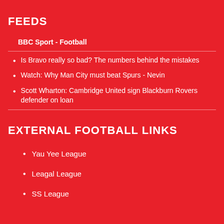FEEDS
BBC Sport - Football
Is Bravo really so bad? The numbers behind the mistakes
Watch: Why Man City must beat Spurs - Nevin
Scott Wharton: Cambridge United sign Blackburn Rovers defender on loan
EXTERNAL FOOTBALL LINKS
Yau Yee League
Leagal League
SS League